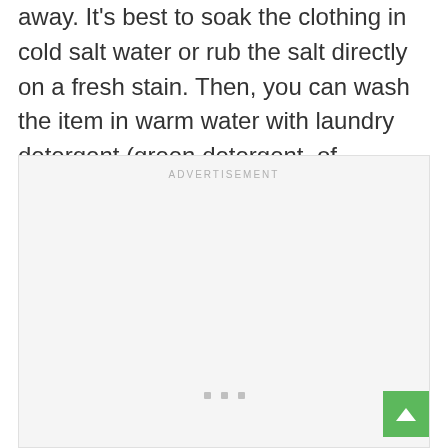away. It's best to soak the clothing in cold salt water or rub the salt directly on a fresh stain. Then, you can wash the item in warm water with laundry detergent (green detergent, of course!).
[Figure (other): Advertisement placeholder box with 'ADVERTISEMENT' label at top and three small dots near the bottom, with a green back-to-top arrow button in the bottom-right corner.]